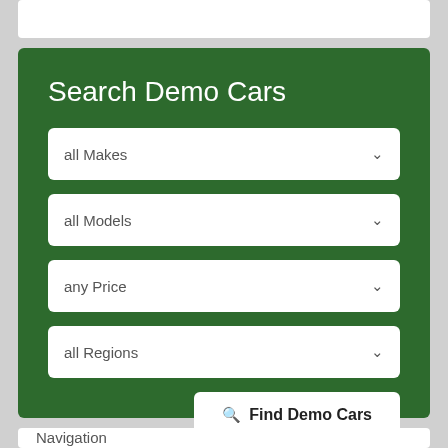[Figure (screenshot): Top white card section (partial, cropped at top)]
Search Demo Cars
all Makes
all Models
any Price
all Regions
Find Demo Cars
Navigation